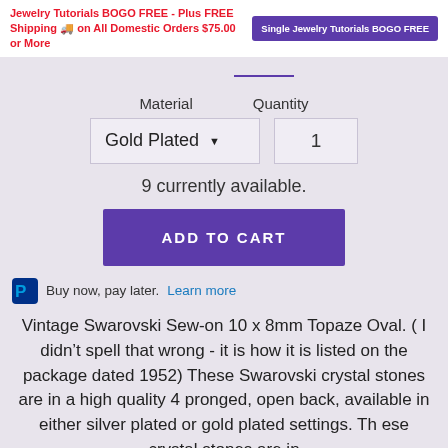Jewelry Tutorials BOGO FREE - Plus FREE Shipping 🚚 on All Domestic Orders $75.00 or More  Single Jewelry Tutorials BOGO FREE
Material   Quantity
Gold Plated ▼   1
9 currently available.
ADD TO CART
Buy now, pay later. Learn more
Vintage Swarovski Sew-on 10 x 8mm Topaze Oval. ( I didn't spell that wrong - it is how it is listed on the package dated 1952) These Swarovski crystal stones are in a high quality 4 pronged, open back, available in either silver plated or gold plated settings. These crystal stones are in